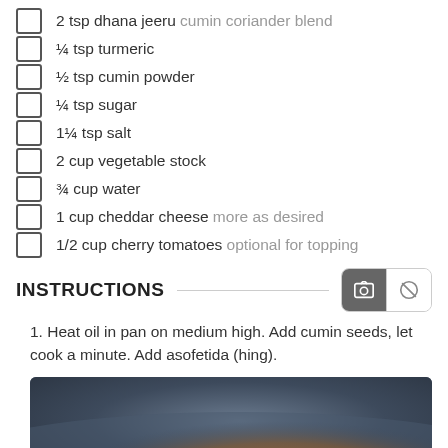2 tsp dhana jeeru cumin coriander blend
¼ tsp turmeric
½ tsp cumin powder
¼ tsp sugar
1¼ tsp salt
2 cup vegetable stock
¾ cup water
1 cup cheddar cheese more as desired
1/2 cup cherry tomatoes optional for topping
INSTRUCTIONS
1. Heat oil in pan on medium high. Add cumin seeds, let cook a minute. Add asofetida (hing).
[Figure (photo): A cooking pan on medium-high heat with oil, showing cumin seeds beginning to cook, dark background with warm tones.]